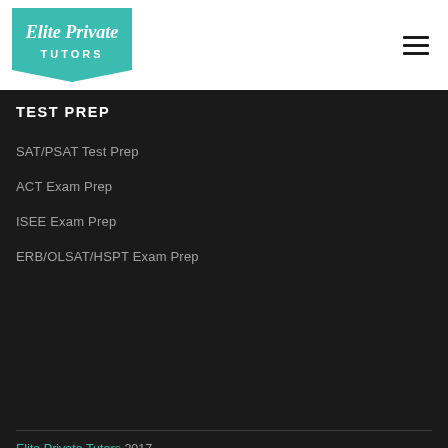[Figure (logo): Elite Private Tutors logo — teal pennant/banner shape with cursive 'Elite Private' text and 'TUTORS' in caps]
TEST PREP
SAT/PSAT Test Prep
ACT Exam Prep
ISEE Exam Prep
ERB/OLSAT/HSPT Exam Prep
Elite Private Tutors 2017
Privacy Policy